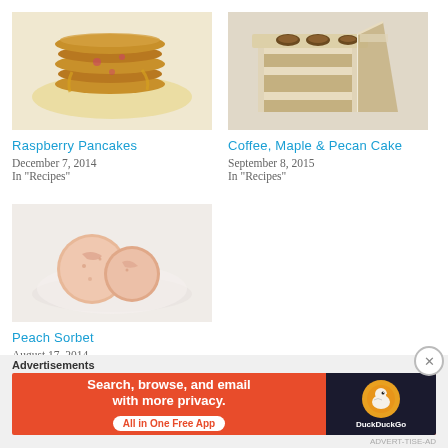[Figure (photo): Stack of raspberry pancakes with yellow sauce on a white plate]
Raspberry Pancakes
December 7, 2014
In "Recipes"
[Figure (photo): Coffee, maple and pecan cake with nuts on top, sliced to show layers]
Coffee, Maple & Pecan Cake
September 8, 2015
In "Recipes"
[Figure (photo): Peach sorbet served in a white bowl]
Peach Sorbet
August 17, 2014
In "Recipes"
Advertisements
[Figure (screenshot): DuckDuckGo advertisement banner: Search, browse, and email with more privacy. All in One Free App]